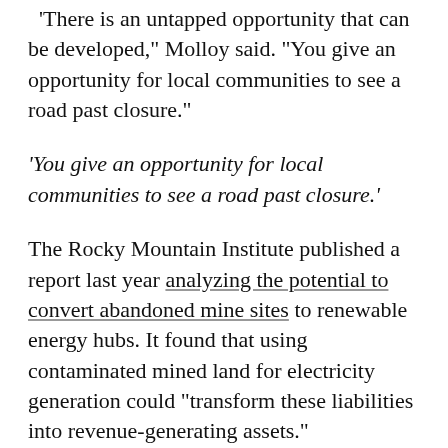‘There is an untapped opportunity that can be developed,” Molloy said. “You give an opportunity for local communities to see a road past closure.”
‘You give an opportunity for local communities to see a road past closure.’
The Rocky Mountain Institute published a report last year analyzing the potential to convert abandoned mine sites to renewable energy hubs. It found that using contaminated mined land for electricity generation could “transform these liabilities into revenue-generating assets.”
The idea was among those circulated at a mine closure summit hosted Nov. 7 by the Colorado